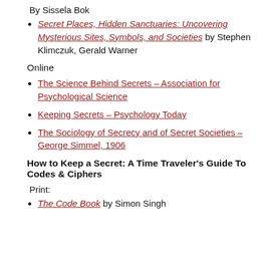By Sissela Bok
Secret Places, Hidden Sanctuaries: Uncovering Mysterious Sites, Symbols, and Societies by Stephen Klimczuk, Gerald Warner
Online
The Science Behind Secrets – Association for Psychological Science
Keeping Secrets – Psychology Today
The Sociology of Secrecy and of Secret Societies – George Simmel, 1906
How to Keep a Secret: A Time Traveler's Guide To Codes & Ciphers
Print:
The Code Book by Simon Singh